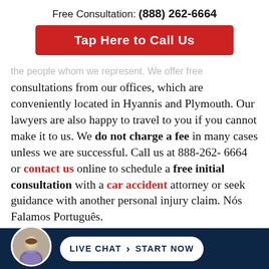Free Consultation: (888) 262-6664
[Figure (other): Red call-to-action button: Tap Here to Call Us]
the people whom we represent. We offer free consultations from our offices, which are conveniently located in Hyannis and Plymouth. Our lawyers are also happy to travel to you if you cannot make it to us. We do not charge a fee in many cases unless we are successful. Call us at 888-262-6664 or contact us online to schedule a free initial consultation with a car accident attorney or seek guidance with another personal injury claim. Nós Falamos Português.
[Figure (photo): Circular avatar photo of a man in a suit, positioned in bottom footer bar]
[Figure (other): Live chat button: LIVE CHAT > START NOW, white pill-shaped button on dark navy footer]